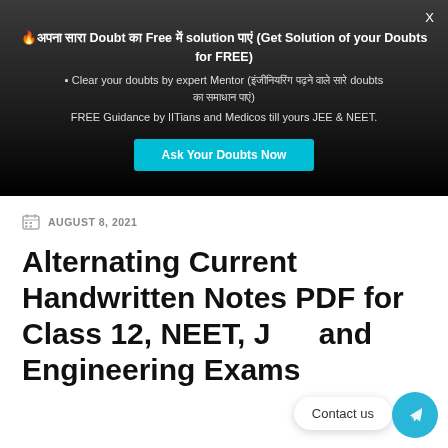[Figure (screenshot): Dark promotional banner with flame emoji, Hindi text, bold 'Doubt' and 'Free' and 'solution' labels, text about clearing doubts by expert Mentor, FREE Guidance by IITians and Medicos till yours JEE & NEET, and a teal 'Ask Your Doubts Now' button. Close X in top right.]
AUGUST 8, 2021
Alternating Current Handwritten Notes PDF for Class 12, NEET, JEE and Engineering Exams